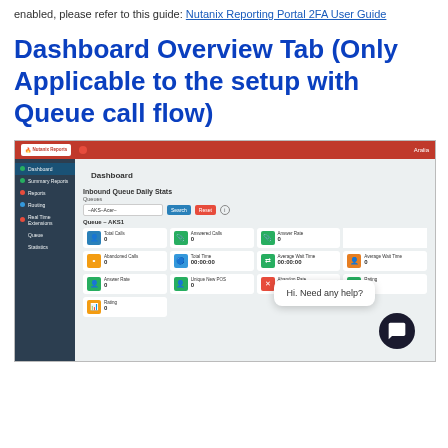enabled, please refer to this guide: Nutanix Reporting Portal 2FA User Guide
Dashboard Overview Tab (Only Applicable to the setup with Queue call flow)
[Figure (screenshot): Screenshot of a web dashboard application showing 'Inbound Queue Daily Stats' with a dark sidebar navigation, red header bar with logo, queue selection dropdown, and a grid of colored stat cards showing metrics like Total Calls, Answered Calls, Answer Rate, Abandoned Calls, Total Time, Average Wait Time, Average Wait Time, Answer Rate, Unique New POS, Abandon Rate, and Rating. A chat widget overlay shows 'Hi. Need any help?' with a dark chat button.]